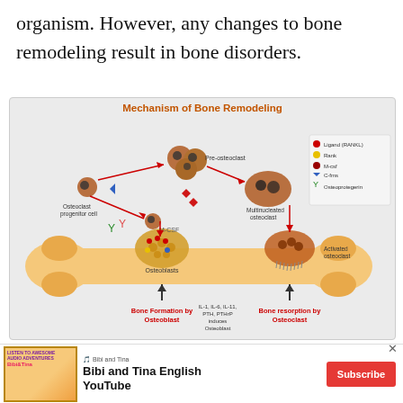organism. However, any changes to bone remodeling result in bone disorders.
[Figure (schematic): Mechanism of Bone Remodeling diagram showing osteoclast progenitor cell, pre-osteoclast, multinucleated osteoclast, M-CSF signaling, osteoblasts, activated osteoclast on a bone diagram. Legend shows Ligand (RANKL), Rank, M-csf, C-fms, Osteoprotegerin. Labels: Bone Formation by Osteoblast, Bone resorption by Osteoclast, IL-1, IL-6, IL-11, PTH, PTHrP induces Osteoblast.]
[Figure (screenshot): Advertisement for Bibi and Tina English YouTube channel with Subscribe button.]